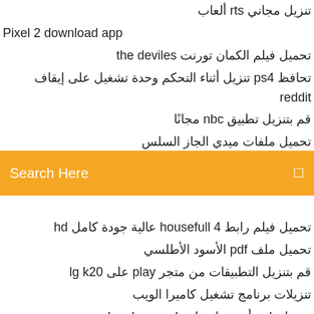تنزيل مجاني rts ألعاب
Pixel 2 download app
تحميل فيلم الكمان تورنت the deviles
تحافظ ps4 تنزيل أثناء التحكم وحدة تشغيل على إيقاف reddit
قم بتنزيل تطبيق nbc مجانًا
تحميل ملفات ميدي الجاز السلس
[Figure (screenshot): Orange search bar with placeholder text 'Search Here' and a search icon on the right]
تحميل فيلم رابط housefull 4 عالية جودة كامل hd
تحميل ملف pdf الأسود الأطلسي
قم بتنزيل التطبيقات من متجر play على lg k20
تنزيلات برنامج تشغيل كاميرا الويب
تحميل apk أحدث إصدار cache cleaner-du
تحميل لعبة sims 4 seriasl killer mod
إلى أين يقوم محرك جوجل بتنزيل الملفات؟
المجال العام تحميل الأفلام مجانا
تنزيل تعديل ورشة البخار مباشرة
تنزيل spider man homecoming free download